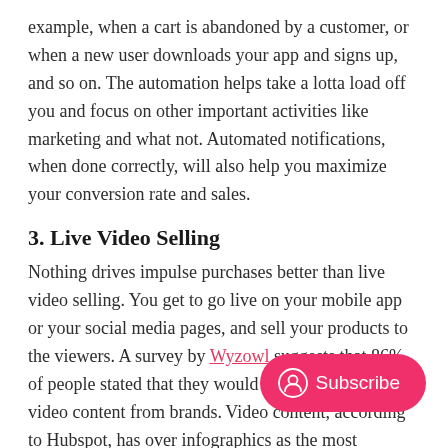example, when a cart is abandoned by a customer, or when a new user downloads your app and signs up, and so on. The automation helps take a lotta load off you and focus on other important activities like marketing and what not. Automated notifications, when done correctly, will also help you maximize your conversion rate and sales.
3. Live Video Selling
Nothing drives impulse purchases better than live video selling. You get to go live on your mobile app or your social media pages, and sell your products to the viewers. A survey by Wyzowl suggests that 86% of people stated that they would like to see more video content from brands. Video content, according to Hubspot, has over infographics as the most preferred and media.